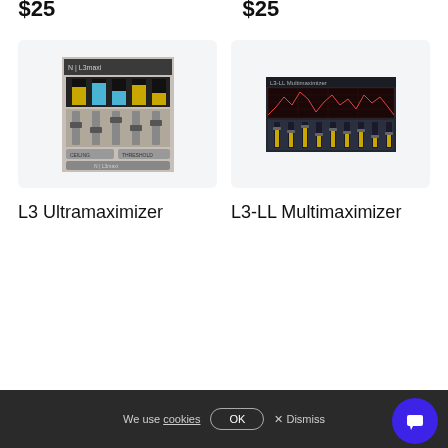$25
$25
[Figure (screenshot): L3 Ultramaximizer plugin UI with vertical faders and EQ display, grey color scheme]
[Figure (screenshot): L3-LL Multimaximizer plugin UI with multiple vertical faders and waveform display, dark blue color scheme]
L3 Ultramaximizer
L3-LL Multimaximizer
We use cookies OK × Dismiss